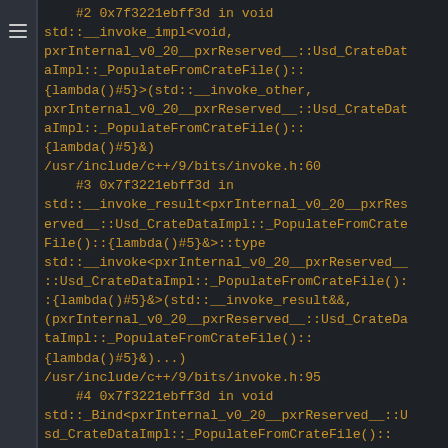#2 0x7f3221ebff3d in void std::__invoke_impl<void, pxrInternal_v0_20__pxrReserved__::Usd_CrateDataImpl::_PopulateFromCrateFile()::{lambda()#5}&>(std::__invoke_other, pxrInternal_v0_20__pxrReserved__::Usd_CrateDataImpl::_PopulateFromCrateFile()::{lambda()#5}&) /usr/include/c++/9/bits/invoke.h:60
    #3 0x7f3221ebff3d in std::__invoke_result<pxrInternal_v0_20__pxrReserved__::Usd_CrateDataImpl::_PopulateFromCrateFile()::{lambda()#5}&>::type std::__invoke<pxrInternal_v0_20__pxrReserved__::Usd_CrateDataImpl::_PopulateFromCrateFile()::{lambda()#5}&>(std::__invoke_result&&, (pxrInternal_v0_20__pxrReserved__::Usd_CrateDataImpl::_PopulateFromCrateFile()::{lambda()#5}&)...) /usr/include/c++/9/bits/invoke.h:95
    #4 0x7f3221ebff3d in void std::_Bind<pxrInternal_v0_20__pxrReserved__::Usd_CrateDataImpl::_PopulateFromCrateFile()::{lambda()#5} ()>::__call<void>(std::tuple<>&&, std::_Index_tuple<>) /usr/include/c++/9/functional:400
    #5 0x7f3221ebff3d in void std::_Bind<pxrInternal_v0_20__pxrReserved__...